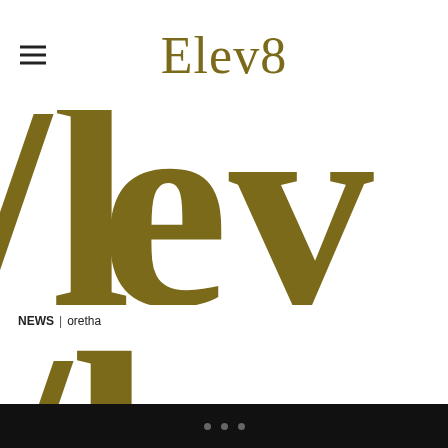Elev8
[Figure (illustration): Large decorative gold/olive serif letters 'lev' cropped close, acting as a decorative banner image for the Elev8 website]
NEWS | oretha
4 Helpful Tips For Families To Start The School Year In A Productive And Positive Way
Many families are preparing for the upcoming school year and looking for new ways to save time and cut expenses.  Some families have already gotten back into their school routine but are ironing out new schedules and activities this year. Authors Evelyn Sacks and Robyn Spizman released their book, “Eat, Nap, Play” (HCI Books) to […]
[Figure (illustration): Partial view of large decorative gold/olive serif letters cropped at bottom of page]
• • •